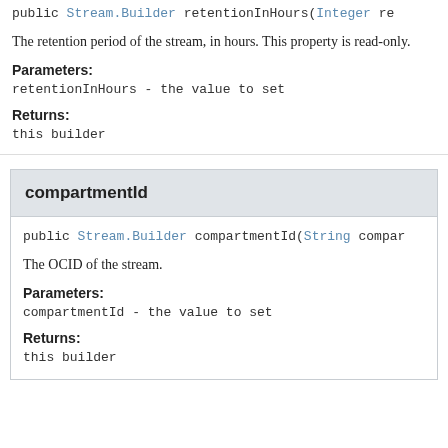public Stream.Builder retentionInHours(Integer re
The retention period of the stream, in hours. This property is read-only.
Parameters:
retentionInHours - the value to set
Returns:
this builder
compartmentId
public Stream.Builder compartmentId(String compar
The OCID of the stream.
Parameters:
compartmentId - the value to set
Returns:
this builder